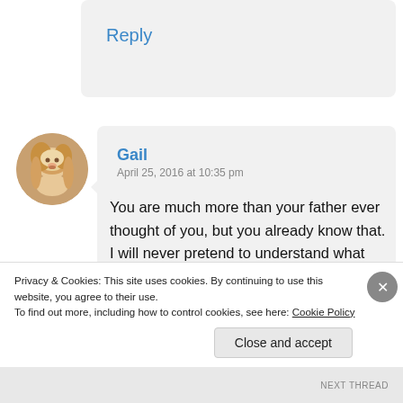Reply
[Figure (photo): Circular avatar photo of a woman with blonde hair.]
Gail
April 25, 2016 at 10:35 pm
You are much more than your father ever thought of you, but you already know that. I will never pretend to understand what causes any man to speak to his daughter the way ours spoke to us. We each rose above it, in
Privacy & Cookies: This site uses cookies. By continuing to use this website, you agree to their use.
To find out more, including how to control cookies, see here: Cookie Policy
Close and accept